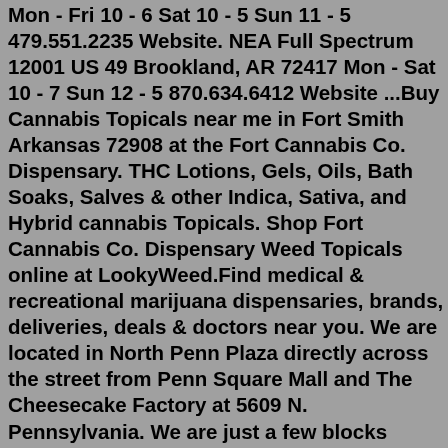Mon - Fri 10 - 6 Sat 10 - 5 Sun 11 - 5 479.551.2235 Website. NEA Full Spectrum 12001 US 49 Brookland, AR 72417 Mon - Sat 10 - 7 Sun 12 - 5 870.634.6412 Website ...Buy Cannabis Topicals near me in Fort Smith Arkansas 72908 at the Fort Cannabis Co. Dispensary. THC Lotions, Gels, Oils, Bath Soaks, Salves & other Indica, Sativa, and Hybrid cannabis Topicals. Shop Fort Cannabis Co. Dispensary Weed Topicals online at LookyWeed.Find medical & recreational marijuana dispensaries, brands, deliveries, deals & doctors near you. We are located in North Penn Plaza directly across the street from Penn Square Mall and The Cheesecake Factory at 5609 N. Pennsylvania. We are just a few blocks North of Northwest Expressway and close to I-44. Whether you are enjoying a day at the mall or on your way to one of Oklahoma City's many attractions like BrickTown, our comfortable, inviting space and friendly, knowledgeable staff ...in the following retail locations. Bow, Wow, and Meow in Maumelle, AR. The Doggie